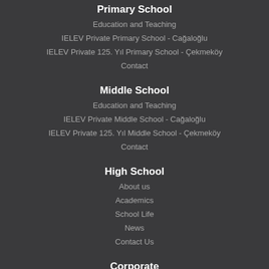Primary School
Education and Teaching
IELEV Private Primary School - Cağaloğlu
IELEV Private 125. Yıl Primary School - Çekmeköy
Contact
Middle School
Education and Teaching
IELEV Private Middle School - Cağaloğlu
IELEV Private 125. Yıl Middle School - Çekmeköy
Contact
High School
About us
Academics
School Life
News
Contact Us
Corporate
About us